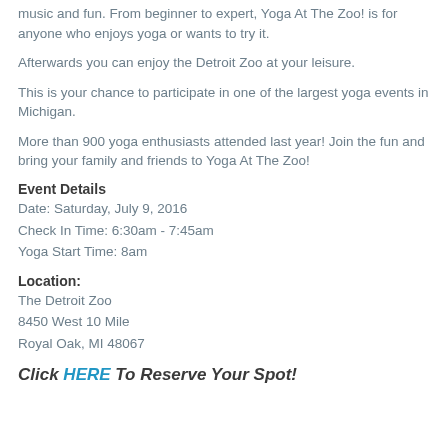music and fun. From beginner to expert, Yoga At The Zoo! is for anyone who enjoys yoga or wants to try it.
Afterwards you can enjoy the Detroit Zoo at your leisure.
This is your chance to participate in one of the largest yoga events in Michigan.
More than 900 yoga enthusiasts attended last year! Join the fun and bring your family and friends to Yoga At The Zoo!
Event Details
Date: Saturday, July 9, 2016
Check In Time: 6:30am - 7:45am
Yoga Start Time: 8am
Location:
The Detroit Zoo
8450 West 10 Mile
Royal Oak, MI 48067
Click HERE To Reserve Your Spot!